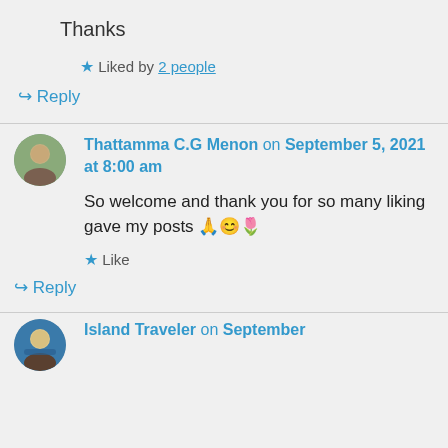Thanks
★ Liked by 2 people
↪ Reply
Thattamma C.G Menon on September 5, 2021 at 8:00 am
So welcome and thank you for so many liking gave my posts 🙏😊🌷
★ Like
↪ Reply
Island Traveler on September